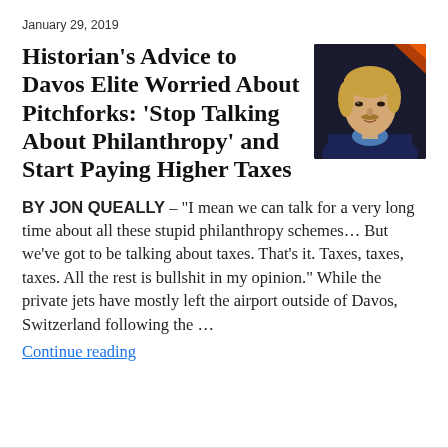January 29, 2019
Historian’s Advice to Davos Elite Worried About Pitchforks: ‘Stop Talking About Philanthropy’ and Start Paying Higher Taxes
[Figure (photo): Portrait photo of a man with blonde hair and mustache wearing a dark jacket, seated, in front of a dark background with orange/red lighting accents.]
BY JON QUEALLY – “I mean we can talk for a very long time about all these stupid philanthropy schemes… But we’ve got to be talking about taxes. That’s it. Taxes, taxes, taxes. All the rest is bullshit in my opinion.” While the private jets have mostly left the airport outside of Davos, Switzerland following the …
Continue reading